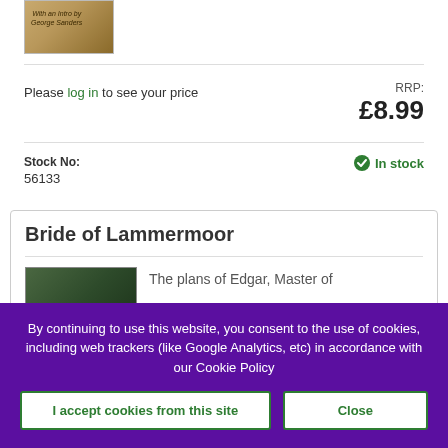[Figure (photo): Book cover thumbnail shown partially at top]
Please log in to see your price
RRP: £8.99
Stock No:
56133
In stock
Bride of Lammermoor
[Figure (photo): Book cover for Bride of Lammermoor]
The plans of Edgar, Master of
By continuing to use this website, you consent to the use of cookies, including web trackers (like Google Analytics, etc) in accordance with our Cookie Policy
I accept cookies from this site
Close